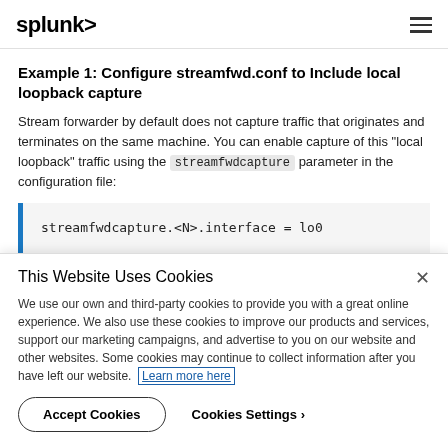splunk>
Example 1: Configure streamfwd.conf to Include local loopback capture
Stream forwarder by default does not capture traffic that originates and terminates on the same machine. You can enable capture of this "local loopback" traffic using the streamfwdcapture parameter in the configuration file:
This Website Uses Cookies
We use our own and third-party cookies to provide you with a great online experience. We also use these cookies to improve our products and services, support our marketing campaigns, and advertise to you on our website and other websites. Some cookies may continue to collect information after you have left our website. Learn more here
Accept Cookies   Cookies Settings ›